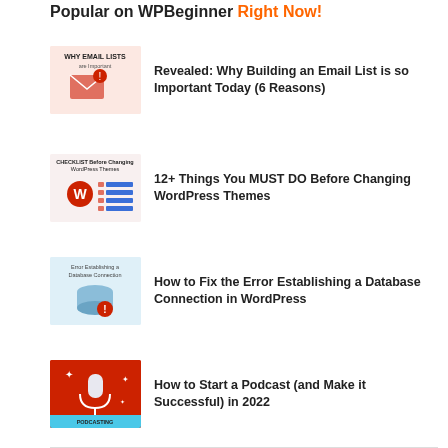Popular on WPBeginner Right Now!
Revealed: Why Building an Email List is so Important Today (6 Reasons)
12+ Things You MUST DO Before Changing WordPress Themes
How to Fix the Error Establishing a Database Connection in WordPress
How to Start a Podcast (and Make it Successful) in 2022